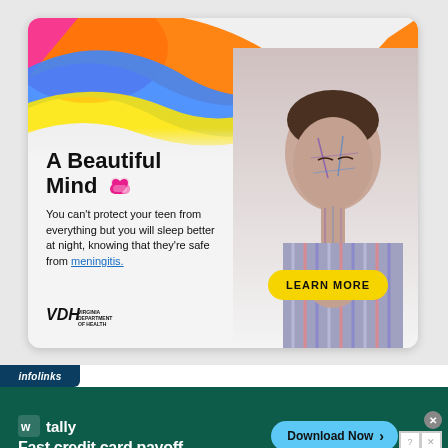[Figure (illustration): VDH 'A Beautiful Mind' meningitis awareness advertisement. Features colorful swirling abstract background in pink, orange, blue, yellow. A teen with circuit/digital pattern overlays on skin. Text: 'A Beautiful Mind' with heart-pill icon, body copy, meningitis link, LEARN MORE button, VDH logo.]
[Figure (infographic): Infolinks labeled tally app advertisement on dark teal background. Shows tally logo, 'Fast credit card payoff' text, 'Download Now' button with arrow. Close/info icons top right.]